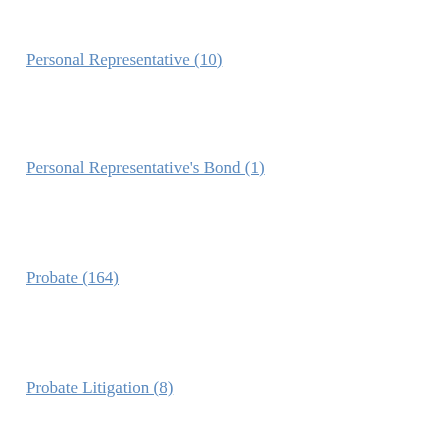Personal Representative (10)
Personal Representative's Bond (1)
Probate (164)
Probate Litigation (8)
timesharing (1)
Trust (13)
Trustee (6)
ARCHIVES
August 2022 (2)